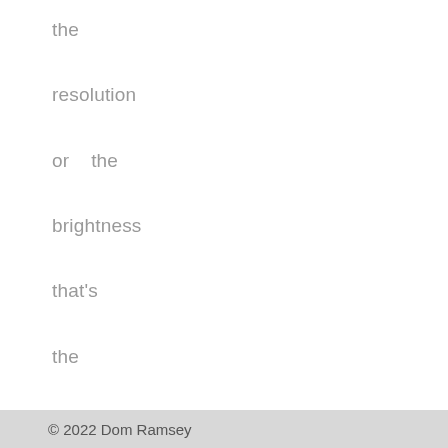the
resolution
or    the
brightness
that's
the
problem,
it's
little
movements
that
mean
you
© 2022 Dom Ramsey